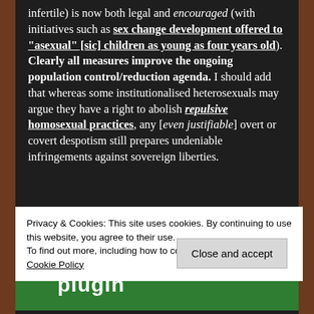infertile) is now both legal and encouraged (with initiatives such as sex change development offered to "asexual" [sic] children as young as four years old). Clearly all measures improve the ongoing population control/reduction agenda. I should add that whereas some institutionalised heterosexuals may argue they have a right to abolish repulsive homosexual practices, any [even justifiable] overt or covert despotism still prepares undeniable infringements against sovereign liberties.
[Figure (screenshot): Green banner with white bold text reading 'plugin']
Privacy & Cookies: This site uses cookies. By continuing to use this website, you agree to their use.
To find out more, including how to control cookies, see here: Cookie Policy